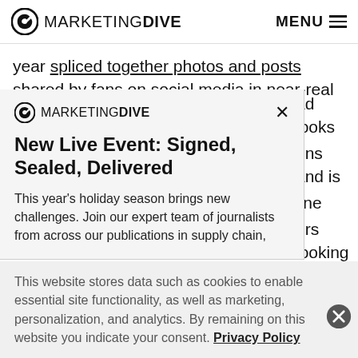Marketing Dive — MENU
year spliced together photos and posts shared by fans on social media in near-real time.
[Figure (screenshot): Marketing Dive popup modal with title 'New Live Event: Signed, Sealed, Delivered' and body text 'This year's holiday season brings new challenges. Join our expert team of journalists from across our publications in supply chain,']
ad looks ons and is line ers looking e of the however,
This website stores data such as cookies to enable essential site functionality, as well as marketing, personalization, and analytics. By remaining on this website you indicate your consent. Privacy Policy